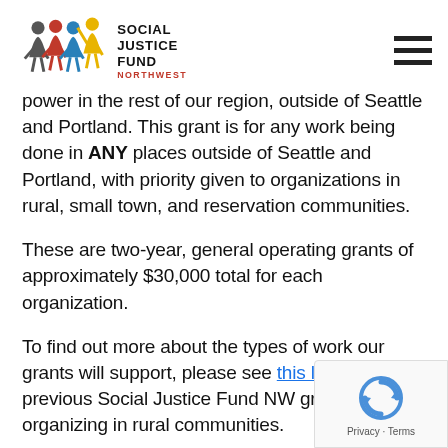Social Justice Fund Northwest
power in the rest of our region, outside of Seattle and Portland. This grant is for any work being done in ANY places outside of Seattle and Portland, with priority given to organizations in rural, small town, and reservation communities.
These are two-year, general operating grants of approximately $30,000 total for each organization.
To find out more about the types of work our grants will support, please see this list of previous Social Justice Fund NW grantees organizing in rural communities.
HOW CAN YOU SUPPORT US?